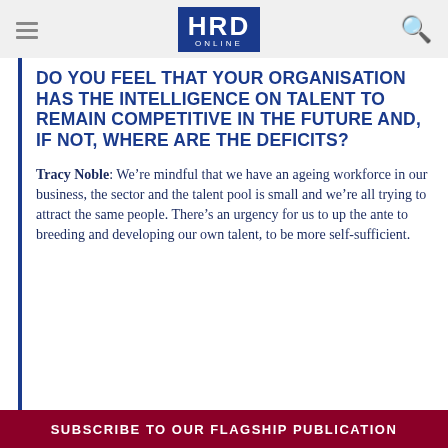HRD ONLINE
DO YOU FEEL THAT YOUR ORGANISATION HAS THE INTELLIGENCE ON TALENT TO REMAIN COMPETITIVE IN THE FUTURE AND, IF NOT, WHERE ARE THE DEFICITS?
Tracy Noble: We’re mindful that we have an ageing workforce in our business, the sector and the talent pool is small and we’re all trying to attract the same people. There’s an urgency for us to up the ante to breeding and developing our own talent, to be more self-sufficient.
SUBSCRIBE TO OUR FLAGSHIP PUBLICATION